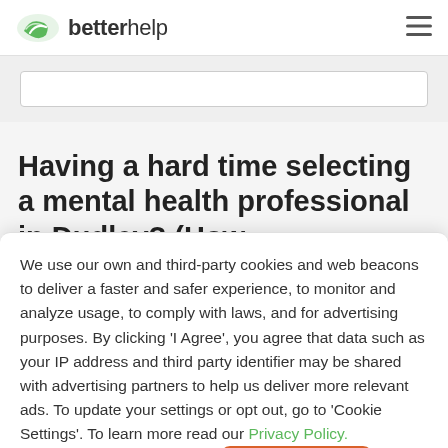betterhelp
Having a hard time selecting a mental health professional in Dudley? (How
We use our own and third-party cookies and web beacons to deliver a faster and safer experience, to monitor and analyze usage, to comply with laws, and for advertising purposes. By clicking ‘I Agree’, you agree that data such as your IP address and third party identifier may be shared with advertising partners to help us deliver more relevant ads. To update your settings or opt out, go to 'Cookie Settings'. To learn more read our Privacy Policy.
Cookie Settings
I Agree